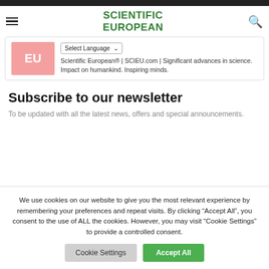SCIENTIFIC EUROPEAN
[Figure (logo): EU logo in pink/salmon background with white EU text]
Scientific European® | SCIEU.com | Significant advances in science. Impact on humankind. Inspiring minds.
Subscribe to our newsletter
To be updated with all the latest news, offers and special announcements.
We use cookies on our website to give you the most relevant experience by remembering your preferences and repeat visits. By clicking “Accept All”, you consent to the use of ALL the cookies. However, you may visit “Cookie Settings” to provide a controlled consent.